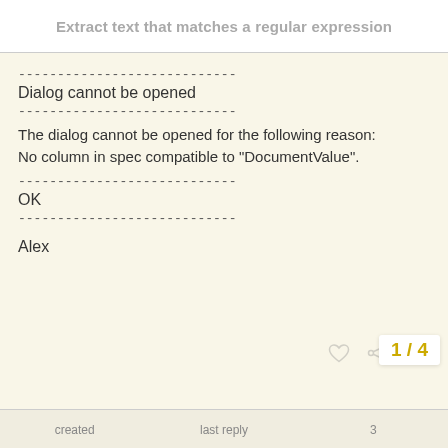Extract text that matches a regular expression
----------------------------
Dialog cannot be opened
----------------------------
The dialog cannot be opened for the following reason:
No column in spec compatible to "DocumentValue".
----------------------------
OK
----------------------------
Alex
created   last reply   3